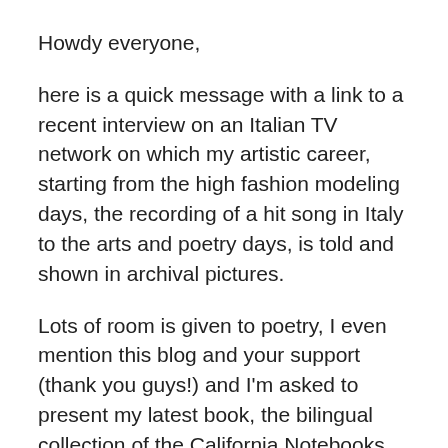Howdy everyone,
here is a quick message with a link to a recent interview on an Italian TV network on which my artistic career, starting from the high fashion modeling days, the recording of a hit song in Italy to the arts and poetry days, is told and shown in archival pictures.
Lots of room is given to poetry, I even mention this blog and your support (thank you guys!) and I’m asked to present my latest book, the bilingual collection of the California Notebooks.
This interview is in Italian (some of you may enjoy the practice of the language, some just watching the moving pictures, some may enjoy peeking in, LOL), it is 90 minutes long and three other artists are being interviewed with me, its anchor Fausto Morabito…